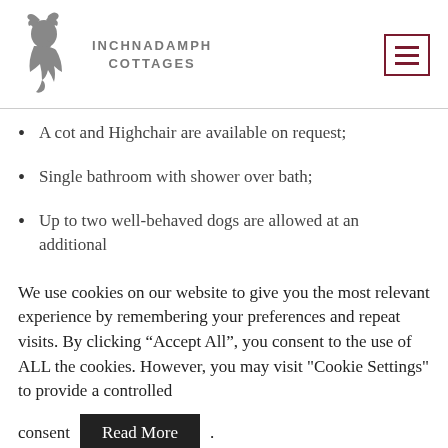INCHNADAMPH COTTAGES
A cot and Highchair are available on request;
Single bathroom with shower over bath;
Up to two well-behaved dogs are allowed at an additional
We use cookies on our website to give you the most relevant experience by remembering your preferences and repeat visits. By clicking “Accept All”, you consent to the use of ALL the cookies. However, you may visit "Cookie Settings" to provide a controlled consent Read More .
Cookie Settings  Accept All